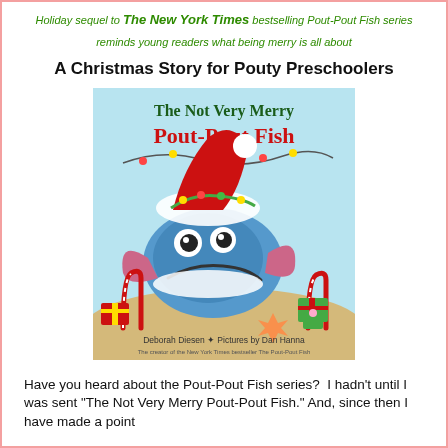Holiday sequel to The New York Times bestselling Pout-Pout Fish series reminds young readers what being merry is all about
A Christmas Story for Pouty Preschoolers
[Figure (illustration): Book cover of 'The Not Very Merry Pout-Pout Fish' by Deborah Diesen, Pictures by Dan Hanna. Shows a blue pout-pout fish wearing a red Santa hat wrapped in Christmas lights and greenery, surrounded by candy canes and Christmas presents on the ocean floor.]
Have you heard about the Pout-Pout Fish series?  I hadn't until I was sent "The Not Very Merry Pout-Pout Fish." And, since then I have made a point